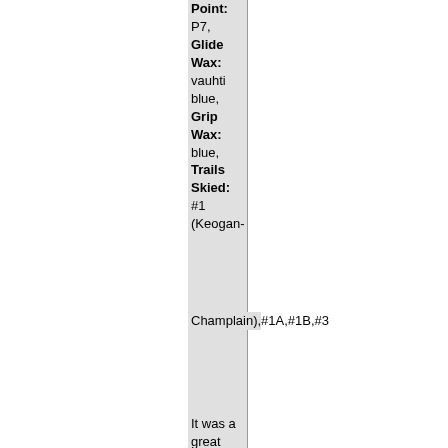| Point: P7, Glide Wax: vauhti blue, Grip Wax: blue, Trails Skied: #1 (Keogan-Champlain),#1A,#1B,#3 |
It was a great day for a long ski. The grooming was great and the tracks fine as well. My grip was slipping a little bit so I had to reapply it quite a few times because